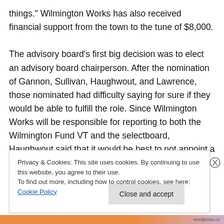things." Wilmington Works has also received financial support from the town to the tune of $8,000.

The advisory board’s first big decision was to elect an advisory board chairperson. After the nomination of Gannon, Sullivan, Haughwout, and Lawrence, those nominated had difficulty saying for sure if they would be able to fulfill the role. Since Wilmington Works will be responsible for reporting to both the Wilmington Fund VT and the selectboard, Haughwout said that it would be best to not appoint a chairperson who also serves on one of
Privacy & Cookies: This site uses cookies. By continuing to use this website, you agree to their use.
To find out more, including how to control cookies, see here: Cookie Policy
Close and accept